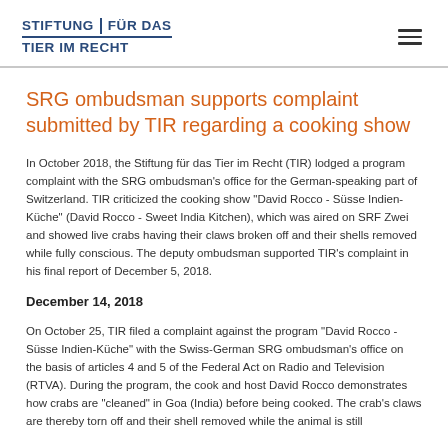STIFTUNG | FÜR DAS TIER IM RECHT
SRG ombudsman supports complaint submitted by TIR regarding a cooking show
In October 2018, the Stiftung für das Tier im Recht (TIR) lodged a program complaint with the SRG ombudsman's office for the German-speaking part of Switzerland. TIR criticized the cooking show "David Rocco - Süsse Indien-Küche" (David Rocco - Sweet India Kitchen), which was aired on SRF Zwei and showed live crabs having their claws broken off and their shells removed while fully conscious. The deputy ombudsman supported TIR's complaint in his final report of December 5, 2018.
December 14, 2018
On October 25, TIR filed a complaint against the program "David Rocco - Süsse Indien-Küche" with the Swiss-German SRG ombudsman's office on the basis of articles 4 and 5 of the Federal Act on Radio and Television (RTVA). During the program, the cook and host David Rocco demonstrates how crabs are "cleaned" in Goa (India) before being cooked. The crab's claws are thereby torn off and their shell removed while the animal is still